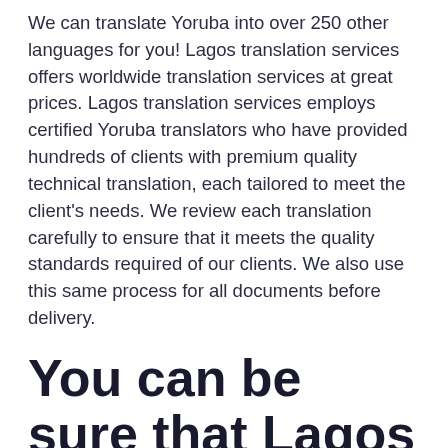We can translate Yoruba into over 250 other languages for you! Lagos translation services offers worldwide translation services at great prices. Lagos translation services employs certified Yoruba translators who have provided hundreds of clients with premium quality technical translation, each tailored to meet the client's needs. We review each translation carefully to ensure that it meets the quality standards required of our clients. We also use this same process for all documents before delivery.
You can be sure that Lagos translation services will prove to be a great help to your